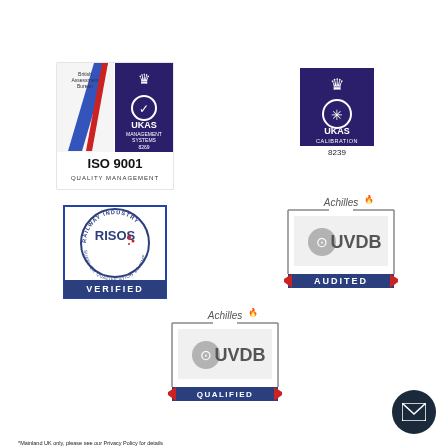[Figure (logo): British Assessment Bureau UKAS Management Systems ISO 9001 Quality Management certification badge]
[Figure (logo): UKAS Calibration 8239 certification badge]
[Figure (logo): RISQS Railway Industry Supplier Qualification Scheme Verified badge]
[Figure (logo): Achilles UVDB Audited badge]
[Figure (logo): Achilles UVDB Qualified badge]
*Mainland UK only, please see our Privacy Policy for details